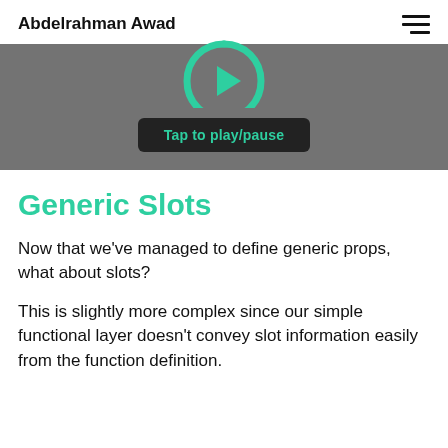Abdelrahman Awad
[Figure (screenshot): Video player area with dark gray background, green circular play/pause icon at top center, and a dark button labeled 'Tap to play/pause' in teal text]
Generic Slots
Now that we've managed to define generic props, what about slots?
This is slightly more complex since our simple functional layer doesn't convey slot information easily from the function definition.